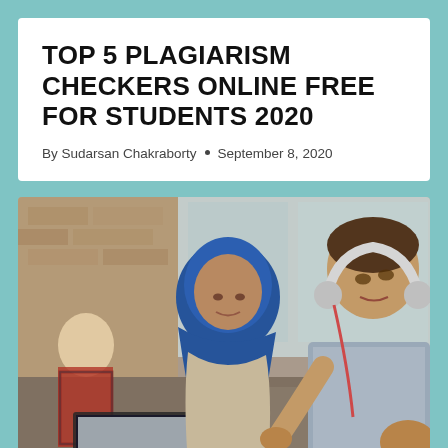TOP 5 PLAGIARISM CHECKERS ONLINE FREE FOR STUDENTS 2020
By Sudarsan Chakraborty • September 8, 2020
[Figure (photo): Three students in a cafe setting looking at a laptop. A woman wearing a blue hijab and beige jacket smiles at a laptop screen. A young man with headphones around his neck leans in from behind. In the background, another couple sits at a table.]